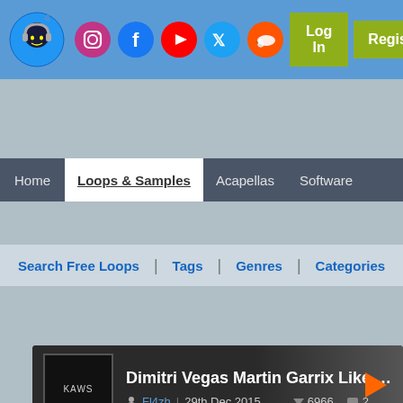[Figure (screenshot): Website header with logo, social media icons (Instagram, Facebook, YouTube, Twitter, SoundCloud), Log In and Register buttons on blue background]
Home | Loops & Samples | Acapellas | Software
Search Free Loops | Tags | Genres | Categories
[Figure (other): Audio player card showing 'Dimitri Vegas Martin Garrix Like Mike -' track by Fl4zh, 29th Dec 2015, 6966 downloads, 2 comments, with yellow-green waveform visualization]
0:00 / 00:04   Login To Download